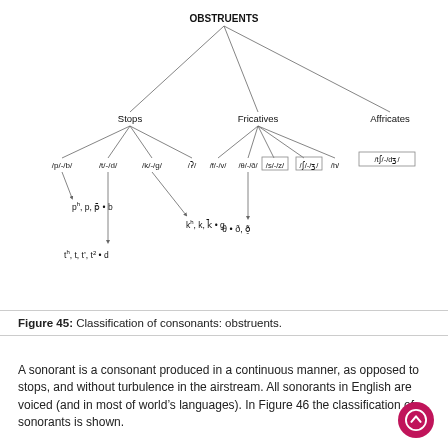[Figure (organizational-chart): Tree diagram showing classification of OBSTRUENTS into Stops, Fricatives, and Affricates, with further subcategories and phonetic symbols.]
Figure 45: Classification of consonants: obstruents.
A sonorant is a consonant produced in a continuous manner, as opposed to stops, and without turbulence in the airstream. All sonorants in English are voiced (and in most of world’s languages). In Figure 46 the classification of sonorants is shown.